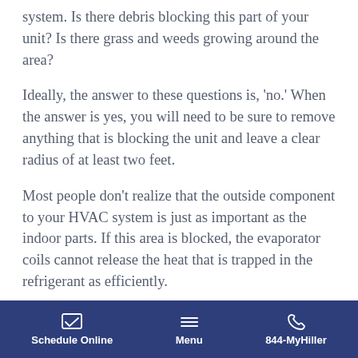system. Is there debris blocking this part of your unit? Is there grass and weeds growing around the area?
Ideally, the answer to these questions is, 'no.' When the answer is yes, you will need to be sure to remove anything that is blocking the unit and leave a clear radius of at least two feet.
Most people don't realize that the outside component to your HVAC system is just as important as the indoor parts. If this area is blocked, the evaporator coils cannot release the heat that is trapped in the refrigerant as efficiently.
If the heat cannot be released quickly, the refrigerant will not be able to absorb as much heat from your
Schedule Online   Menu   844-MyHiller